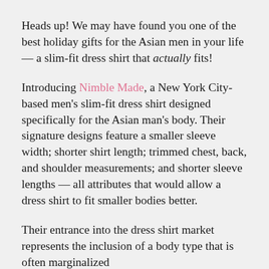Heads up! We may have found you one of the best holiday gifts for the Asian men in your life — a slim-fit dress shirt that actually fits!
Introducing Nimble Made, a New York City-based men's slim-fit dress shirt designed specifically for the Asian man's body. Their signature designs feature a smaller sleeve width; shorter shirt length; trimmed chest, back, and shoulder measurements; and shorter sleeve lengths — all attributes that would allow a dress shirt to fit smaller bodies better.
Their entrance into the dress shirt market represents the inclusion of a body type that is often marginalized